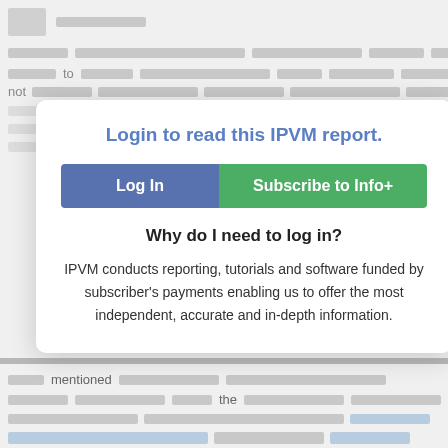[Figure (screenshot): Redacted/blurred background content showing partially visible text lines and a logo placeholder in the upper left]
Login to read this IPVM report.
Log In
Subscribe to Info+
Why do I need to log in?
IPVM conducts reporting, tutorials and software funded by subscriber's payments enabling us to offer the most independent, accurate and in-depth information.